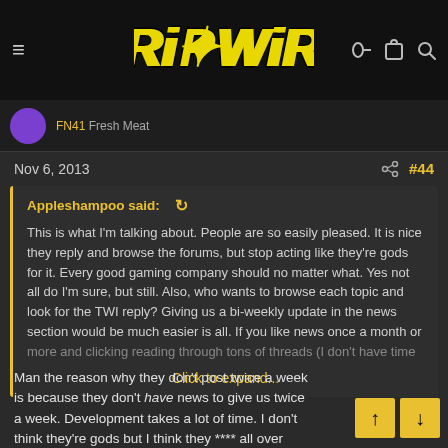[Figure (logo): Tripwire Interactive logo in yellow stylized text on dark background]
FN41 Fresh Meat
Nov 6, 2013
#44
Appleshampoo said: ↺
This is what I'm talking about. People are so easily pleased. It is nice they reply and browse the forums, but stop acting like they're gods for it. Every good gaming company should no matter what. Yes not all do I'm sure, but still. Also, who wants to browse each topic and look for the TWI reply? Giving us a bi-weekly update in the news section would be much easier is all. If you like news once a month or more and clicking reading through tons of threads (I don't have time
Click to expand...
Man the reason why they don't post twice a week is because they don't have news to give us twice a week. Development takes a lot of time. I don't think they're gods but I think they **** all over some other gaming companies in the PR department.